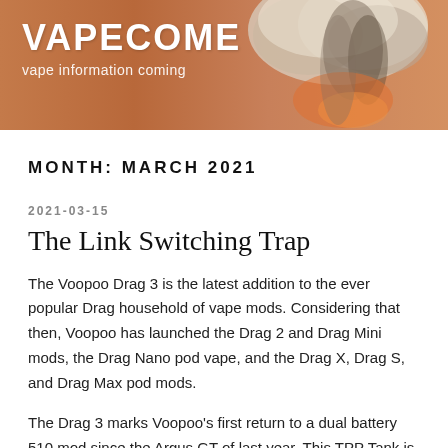VAPECOME
vape information coming
MONTH: MARCH 2021
2021-03-15
The Link Switching Trap
The Voopoo Drag 3 is the latest addition to the ever popular Drag household of vape mods. Considering that then, Voopoo has launched the Drag 2 and Drag Mini mods, the Drag Nano pod vape, and the Drag X, Drag S, and Drag Max pod mods.
The Drag 3 marks Voopoo's first return to a dual battery 510 mod since the Argus GT of last year. This TPP Tank is